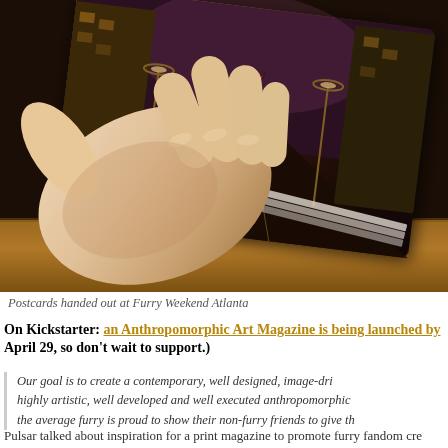[Figure (photo): A hand holding a printed postcard/card with illustrated artwork showing an anthropomorphic cat character walking down a city street. Multiple cards are stacked on a wooden table in the background.]
Postcards handed out at Furry Weekend Atlanta
On Kickstarter: an Anthropomorphic Art Magazine is being launched by April 29, so don’t wait to support.)
Our goal is to create a contemporary, well designed, image-dri highly artistic, well developed and well executed anthropomorphic the average furry is proud to show their non-furry friends to give th
Pulsar talked about inspiration for a print magazine to promote furry fandom cre